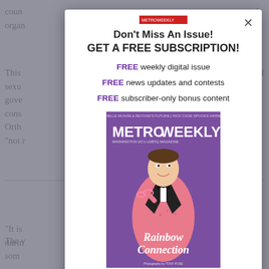[Figure (screenshot): Background page content showing partial article text, dimmed behind modal overlay]
Don't Miss An Issue!
GET A FREE SUBSCRIPTION!
FREE weekly digital issue
FREE news updates and contests
FREE subscriber-only bonus content
[Figure (photo): Metro Weekly magazine cover showing a man in a pink sequined tuxedo holding pink glasses, with text 'Rainbow Connection']
Enter your first name here...